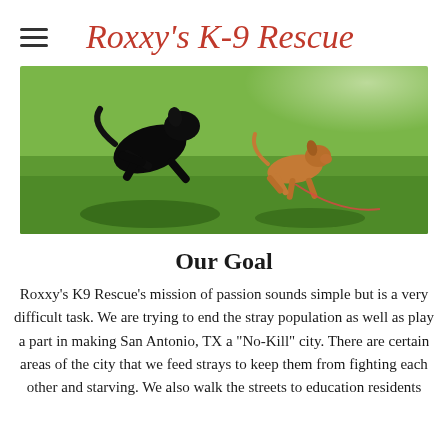Roxxy's K-9 Rescue
[Figure (photo): Two dogs running and playing on green grass in sunlight — a large black dog leaping and a smaller tan/brown dog running alongside]
Our Goal
Roxxy's K9 Rescue's mission of passion sounds simple but is a very difficult task.  We are trying to end the stray population as well as play a part in making San Antonio, TX a "No-Kill" city.  There are certain areas of the city that we feed strays to keep them from fighting each other and starving.  We also walk the streets to education residents